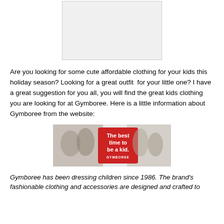[Figure (other): Gray placeholder image box]
Are you looking for some cute affordable clothing for your kids this holiday season? Looking for a great outfit  for your little one? I have a great suggestion for you all, you will find the great kids clothing you are looking for at Gymboree. Here is a little information about Gymboree from the website:
[Figure (photo): Gymboree banner ad showing children playing and text 'The best time to be a kid. GYMBOREE' on a red background]
Gymboree has been dressing children since 1986. The brand's fashionable clothing and accessories are designed and crafted to